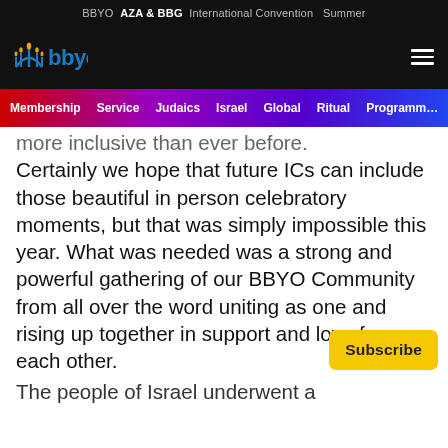BBYO  AZA & BBG  International Convention  Summer
[Figure (logo): BBYO logo with menorah icon and 'bbyo' text in blue]
Membership  Service  Judaics  Israel  Global  Ritual  Programming
more inclusive than ever before. Certainly we hope that future ICs can include those beautiful in person celebratory moments, but that was simply impossible this year. What was needed was a strong and powerful gathering of our BBYO Community from all over the word uniting as one and rising up together in support and love for each other.
The people of Israel underwent a